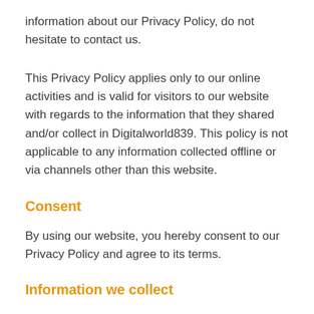information about our Privacy Policy, do not hesitate to contact us.
This Privacy Policy applies only to our online activities and is valid for visitors to our website with regards to the information that they shared and/or collect in Digitalworld839. This policy is not applicable to any information collected offline or via channels other than this website.
Consent
By using our website, you hereby consent to our Privacy Policy and agree to its terms.
Information we collect
The personal information that you are asked to provide